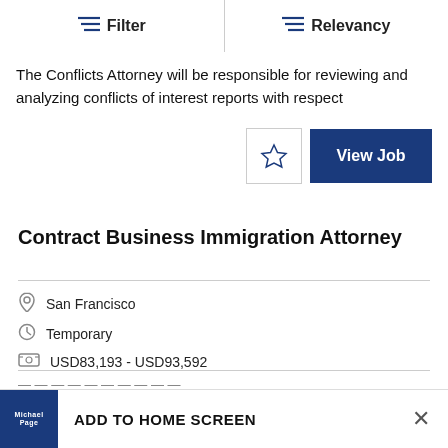Filter | Relevancy
The Conflicts Attorney will be responsible for reviewing and analyzing conflicts of interest reports with respect
View Job
Contract Business Immigration Attorney
San Francisco
Temporary
USD83,193 - USD93,592
ADD TO HOME SCREEN